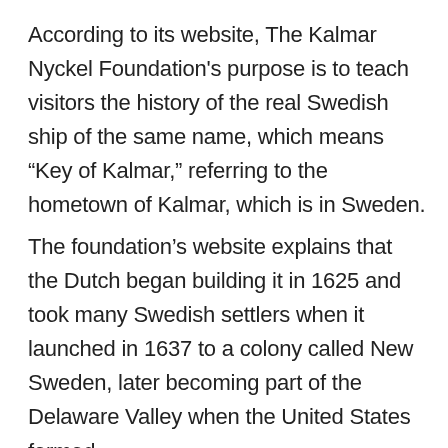According to its website, The Kalmar Nyckel Foundation's purpose is to teach visitors the history of the real Swedish ship of the same name, which means “Key of Kalmar,” referring to the hometown of Kalmar, which is in Sweden.
The foundation’s website explains that the Dutch began building it in 1625 and took many Swedish settlers when it launched in 1637 to a colony called New Sweden, later becoming part of the Delaware Valley when the United States formed.